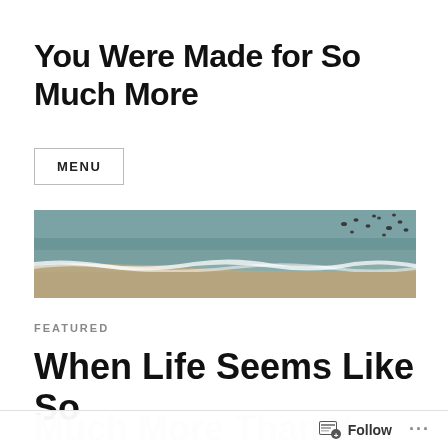You Were Made for So Much More
MENU
[Figure (photo): Aerial or elevated view of a beach shoreline with waves washing onto sandy shore and birds visible in the upper right area]
FEATURED
When Life Seems Like So Much More Than Y…
Follow